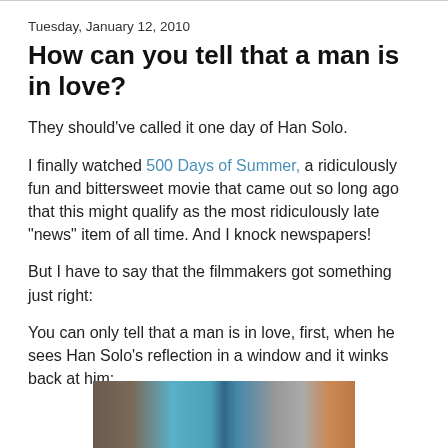Tuesday, January 12, 2010
How can you tell that a man is in love?
They should've called it one day of Han Solo.
I finally watched 500 Days of Summer, a ridiculously fun and bittersweet movie that came out so long ago that this might qualify as the most ridiculously late "news" item of all time. And I knock newspapers!
But I have to say that the filmmakers got something just right:
You can only tell that a man is in love, first, when he sees Han Solo's reflection in a window and it winks back at him:
[Figure (photo): A blurry screenshot from a movie showing a person's face and colorful background elements]